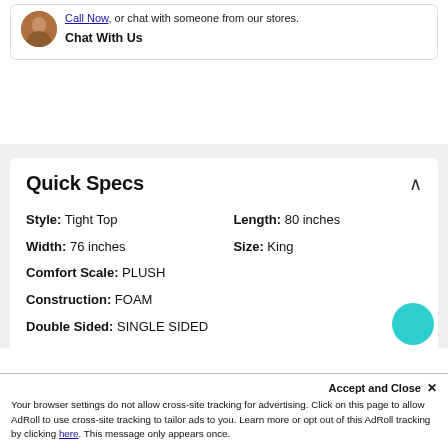Call Now, or chat with someone from our stores.
Chat With Us
Quick Specs
Style: Tight Top   Length: 80 inches
Width: 76 inches   Size: King
Comfort Scale: PLUSH
Construction: FOAM
Double Sided: SINGLE SIDED
Accept and Close ✕
Your browser settings do not allow cross-site tracking for advertising. Click on this page to allow AdRoll to use cross-site tracking to tailor ads to you. Learn more or opt out of this AdRoll tracking by clicking here. This message only appears once.